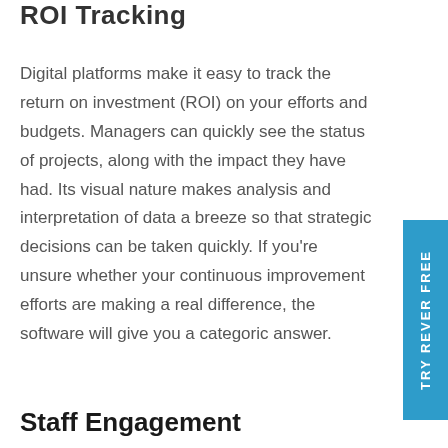ROI Tracking
Digital platforms make it easy to track the return on investment (ROI) on your efforts and budgets. Managers can quickly see the status of projects, along with the impact they have had. Its visual nature makes analysis and interpretation of data a breeze so that strategic decisions can be taken quickly. If you're unsure whether your continuous improvement efforts are making a real difference, the software will give you a categoric answer.
Staff Engagement